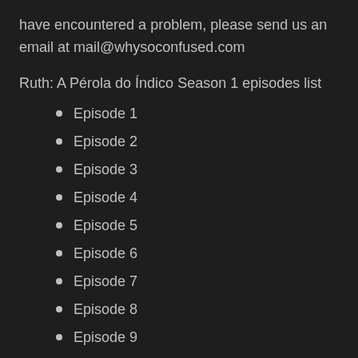have encountered a problem, please send us an email at mail@whysoconfused.com
Ruth: A Pérola do Índico Season 1 episodes list
Episode 1
Episode 2
Episode 3
Episode 4
Episode 5
Episode 6
Episode 7
Episode 8
Episode 9
Episode 10